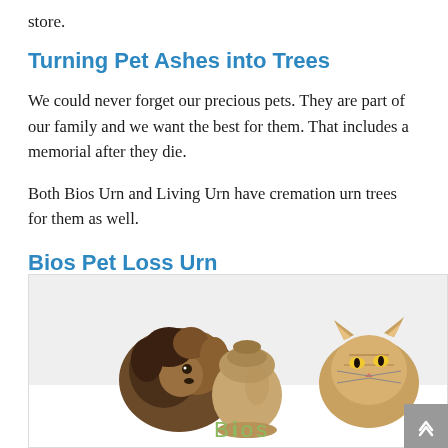store.
Turning Pet Ashes into Trees
We could never forget our precious pets. They are part of our family and we want the best for them. That includes a memorial after they die.
Both Bios Urn and Living Urn have cremation urn trees for them as well.
Bios Pet Loss Urn
[Figure (photo): Photo showing a dog on the left, a Bios urn in the center, and a cat on the right, with a 'Bios' logo visible at the bottom of the image.]